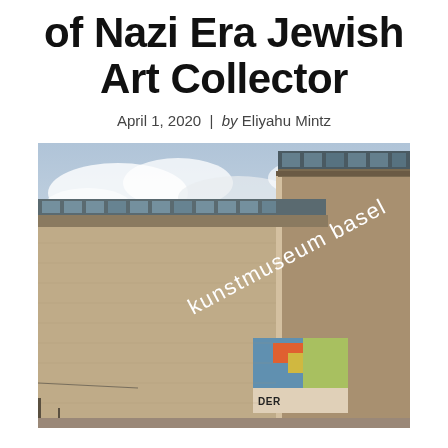of Nazi Era Jewish Art Collector
April 1, 2020 | by Eliyahu Mintz
[Figure (photo): Exterior photograph of the Kunstmuseum Basel building — a large stone-clad modernist structure with a corner view showing the museum's name on the facade and a colorful exhibition banner below. The sky above is cloudy.]